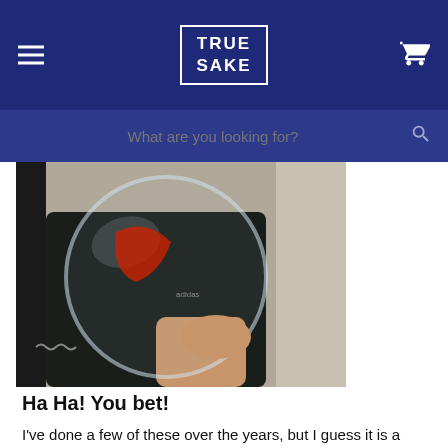TRUE SAKE
What are you looking for?
[Figure (photo): Person holding up a large round glass bowl or dome in front of their face, with a red garment visible. Background appears to be an indoor setting.]
Ha Ha! You bet!
I've done a few of these over the years, but I guess it is a good time